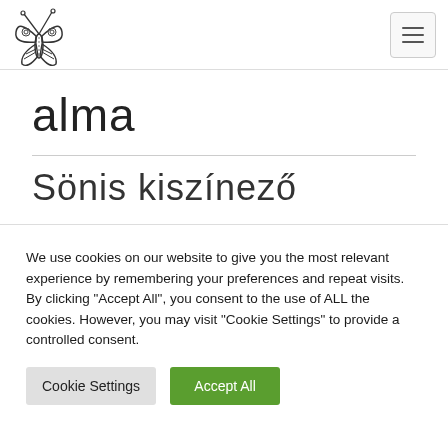[Figure (logo): Butterfly/insect line art logo in black and white]
alma
Sönis kiszínező
We use cookies on our website to give you the most relevant experience by remembering your preferences and repeat visits. By clicking "Accept All", you consent to the use of ALL the cookies. However, you may visit "Cookie Settings" to provide a controlled consent.
Cookie Settings | Accept All